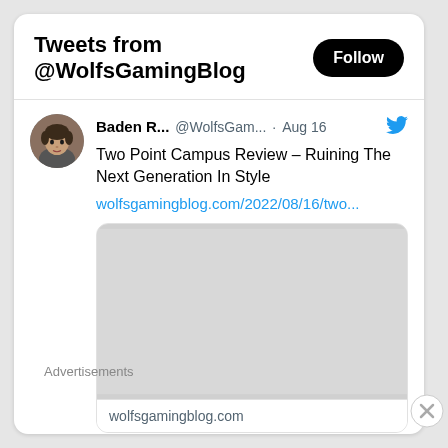Tweets from @WolfsGamingBlog
Baden R... @WolfsGam... · Aug 16
Two Point Campus Review – Ruining The Next Generation In Style
wolfsgamingblog.com/2022/08/16/two...
[Figure (screenshot): Preview card image placeholder (empty/blank image area) for a blog post link]
wolfsgamingblog.com
Advertisements